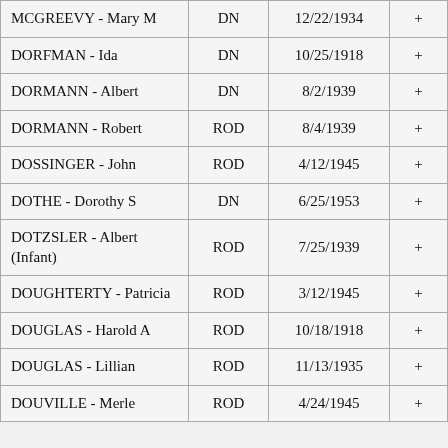| MCGREEVY - Mary M | DN | 12/22/1934 | + |
| DORFMAN - Ida | DN | 10/25/1918 | + |
| DORMANN - Albert | DN | 8/2/1939 | + |
| DORMANN - Robert | ROD | 8/4/1939 | + |
| DOSSINGER - John | ROD | 4/12/1945 | + |
| DOTHE - Dorothy S | DN | 6/25/1953 | + |
| DOTZSLER - Albert (Infant) | ROD | 7/25/1939 | + |
| DOUGHTERTY - Patricia | ROD | 3/12/1945 | + |
| DOUGLAS - Harold A | ROD | 10/18/1918 | + |
| DOUGLAS - Lillian | ROD | 11/13/1935 | + |
| DOUVILLE - Merle | ROD | 4/24/1945 | + |